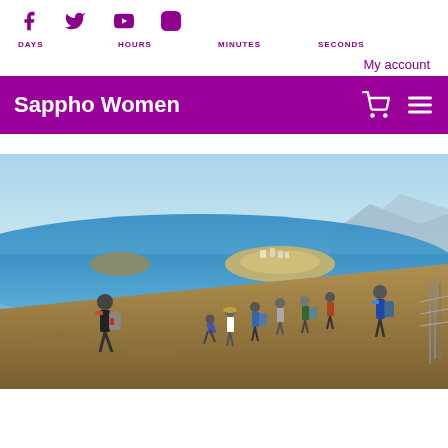[Figure (other): Social media icons: Facebook, Twitter, YouTube, Instagram in purple]
DAYS    HOURS    MINUTES    SECONDS
My account
Sappho Women
[Figure (photo): Group of hikers walking down a rocky hillside trail with a coastal town and blue sea visible in the background under a clear sky]